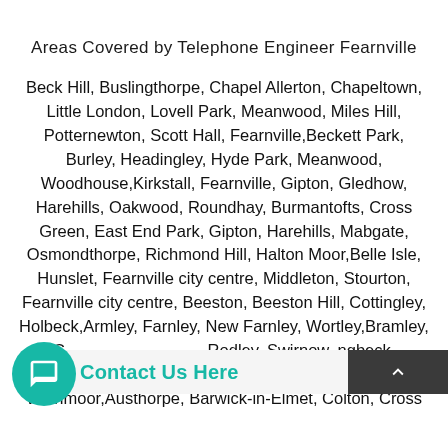Areas Covered by Telephone Engineer Fearnville
Beck Hill, Buslingthorpe, Chapel Allerton, Chapeltown, Little London, Lovell Park, Meanwood, Miles Hill, Potternewton, Scott Hall, Fearnville,Beckett Park, Burley, Headingley, Hyde Park, Meanwood, Woodhouse,Kirkstall, Fearnville, Gipton, Gledhow, Harehills, Oakwood, Roundhay, Burmantofts, Cross Green, East End Park, Gipton, Harehills, Mabgate, Osmondthorpe, Richmond Hill, Halton Moor,Belle Isle, Hunslet, Fearnville city centre, Middleton, Stourton, Fearnville city centre, Beeston, Beeston Hill, Cottingley, Holbeck,Armley, Farnley, New Farnley, Wortley,Bramley, G Rodley, Swirnow, ngbeck, Seacroft, Scarcroft, Swarclife, Thorner, Whinmoor,Austhorpe, Barwick-in-Elmet, Colton, Cross